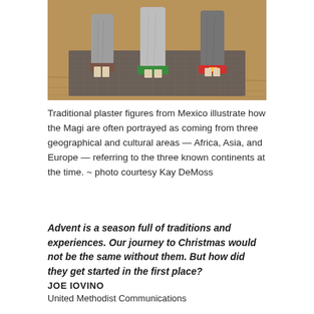[Figure (photo): Traditional plaster figurines (Magi/Three Kings) standing on a woven mat on a wooden surface. Three figures visible from waist down, standing on colored bases — brown, green, and red/yellow.]
Traditional plaster figures from Mexico illustrate how the Magi are often portrayed as coming from three geographical and cultural areas — Africa, Asia, and Europe — referring to the three known continents at the time. ~ photo courtesy Kay DeMoss
Advent is a season full of traditions and experiences. Our journey to Christmas would not be the same without them. But how did they get started in the first place?
JOE IOVINO
United Methodist Communications